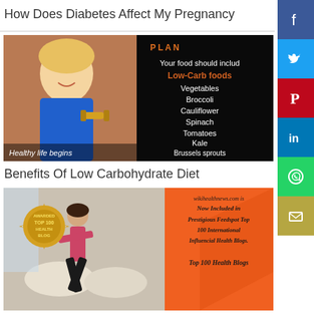How Does Diabetes Affect My Pregnancy
[Figure (photo): Composite image: smiling blonde woman in blue tank top holding yellow dumbbell in front of brick wall (left), and black background with white/orange text listing low-carb foods: Your food should include Low-Carb foods, Vegetables, Broccoli, Cauliflower, Spinach, Tomatoes, Kale, Brussels sprouts, Cabbage. Caption at bottom left: Healthy life begins]
Benefits Of Low Carbohydrate Diet
[Figure (photo): Composite image: woman in yoga/warrior pose in pink top and black leggings in a gym (left), gold badge reading AWARDED TOP 100 HEALTH BLOG, and orange background with dark italic text: wikihealthnews.com is Now Included in Prestigious Feedspot Top 100 International Influencial Health Blogs. Top 100 Health Blogs]